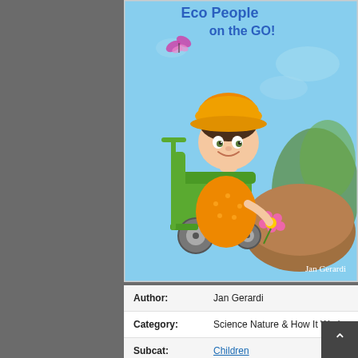[Figure (illustration): Book cover illustration showing a child in a yellow/orange hat and orange polka-dot outfit sitting in a green wheelchair, holding a pink flower. Blue sky background with butterfly and trees. Text at top reads 'Eco People on the GO!' Author name 'Jan Gerardi' at bottom right.]
| Author: | Jan Gerardi |
| Category: | Science Nature & How It Works |
| Subcat: | Children |
| EPUB: | 1170 ... |